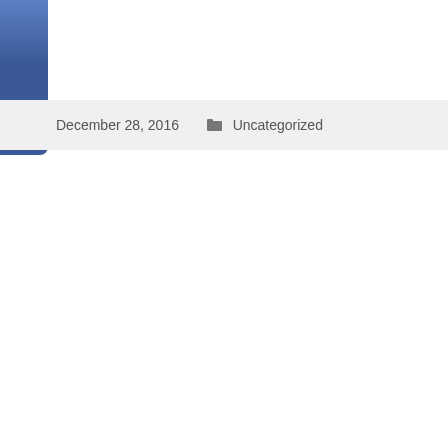[Figure (logo): Facebook logo with white text rotated vertically on a blue gradient background]
December 28, 2016   📁 Uncategorized